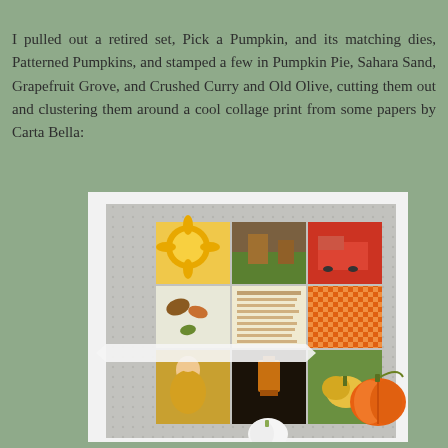I pulled out a retired set, Pick a Pumpkin, and its matching dies, Patterned Pumpkins, and stamped a few in Pumpkin Pie, Sahara Sand, Grapefruit Grove, and Crushed Curry and Old Olive, cutting them out and clustering them around a cool collage print from some papers by Carta Bella:
[Figure (photo): A handmade greeting card featuring a gray dot-embossed background, with a collage of autumn-themed patterned papers arranged in a grid (including sunflowers, an autumn landscape, a red truck, leaves, a recipe card, orange gingham checks, a vintage lady, a lantern, and a gourd). Die-cut pumpkin shapes are clustered around the collage. The card is mounted on a white base.]